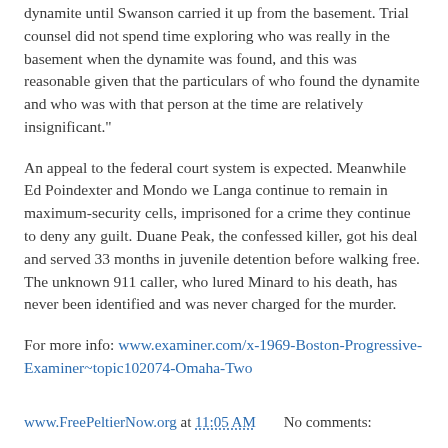dynamite until Swanson carried it up from the basement. Trial counsel did not spend time exploring who was really in the basement when the dynamite was found, and this was reasonable given that the particulars of who found the dynamite and who was with that person at the time are relatively insignificant."
An appeal to the federal court system is expected. Meanwhile Ed Poindexter and Mondo we Langa continue to remain in maximum-security cells, imprisoned for a crime they continue to deny any guilt. Duane Peak, the confessed killer, got his deal and served 33 months in juvenile detention before walking free. The unknown 911 caller, who lured Minard to his death, has never been identified and was never charged for the murder.
For more info: www.examiner.com/x-1969-Boston-Progressive-Examiner~topic102074-Omaha-Two
www.FreePeltierNow.org at 11:05 AM    No comments:
Share